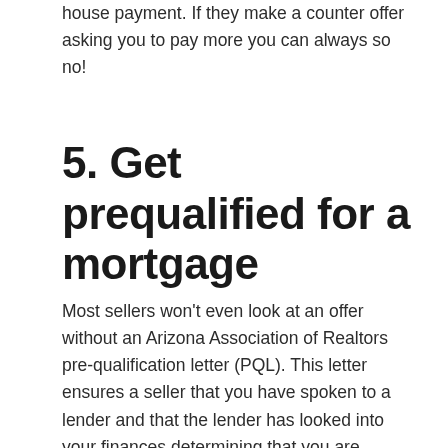house payment. If they make a counter offer asking you to pay more you can always so no!
5. Get prequalified for a mortgage
Most sellers won't even look at an offer without an Arizona Association of Realtors pre-qualification letter (PQL). This letter ensures a seller that you have spoken to a lender and that the lender has looked into your finances determining that you are qualified to get a loan. These letters can be